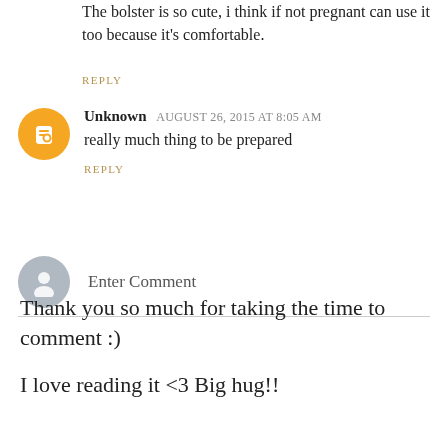The bolster is so cute, i think if not pregnant can use it too because it's comfortable.
REPLY
Unknown  August 26, 2015 at 8:05 AM
really much thing to be prepared
REPLY
Enter Comment
Thank you so much for taking the time to comment :)
I love reading it <3 Big hug!!